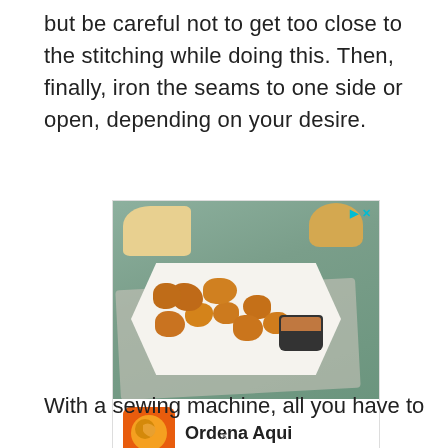but be careful not to get too close to the stitching while doing this. Then, finally, iron the seams to one side or open, depending on your desire.
[Figure (photo): Advertisement image showing fried chicken nuggets on a white plate with dipping sauce, alongside bread rolls on a green background. Below the food photo is an ad for 'Ordena Aqui' with Pollo Campero branding showing location 'Herndon 10AM-10PM' with a navigation button.]
With a sewing machine, all you have to do is